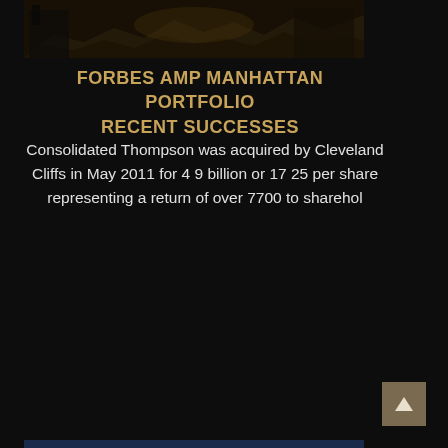[Figure (photo): Dark photograph of a mining or industrial site with rocky terrain and heavy machinery/structures in background]
FORBES AMP MANHATTAN PORTFOLIO RECENT SUCCESSES
Consolidated Thompson was acquired by Cleveland Cliffs in May 2011 for 4 9 billion or 17 25 per share representing a return of over 7700 to sharehol